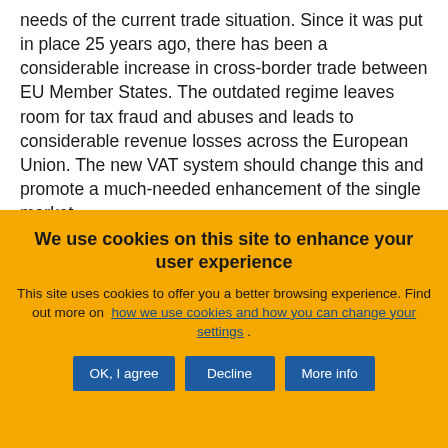needs of the current trade situation. Since it was put in place 25 years ago, there has been a considerable increase in cross-border trade between EU Member States. The outdated regime leaves room for tax fraud and abuses and leads to considerable revenue losses across the European Union. The new VAT system should change this and promote a much-needed enhancement of the single market.
We use cookies on this site to enhance your user experience
This site uses cookies to offer you a better browsing experience. Find out more on how we use cookies and how you can change your settings .